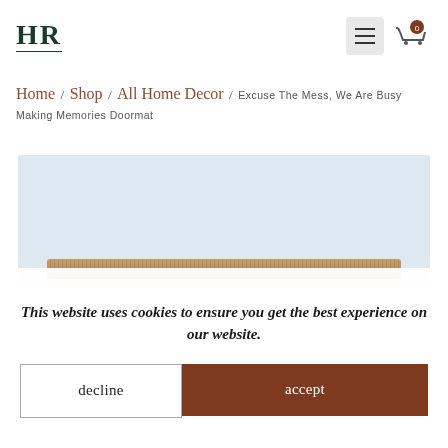HR
Home / Shop / All Home Decor / Excuse The Mess, We Are Busy Making Memories Doormat
[Figure (photo): Product photo of a doormat (coir/natural fiber) on a light blue-grey background]
This website uses cookies to ensure you get the best experience on our website.
decline
accept